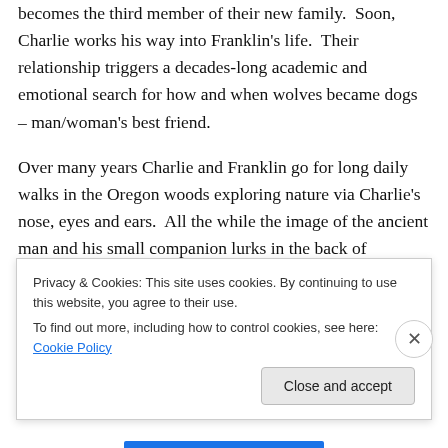becomes the third member of their new family.  Soon, Charlie works his way into Franklin's life.  Their relationship triggers a decades-long academic and emotional search for how and when wolves became dogs – man/woman's best friend.
Over many years Charlie and Franklin go for long daily walks in the Oregon woods exploring nature via Charlie's nose, eyes and ears.  All the while the image of the ancient man and his small companion lurks in the back of Franklin's mind.  As a science writer he has access to the best and the brightest, and makes very good use of this
Privacy & Cookies: This site uses cookies. By continuing to use this website, you agree to their use.
To find out more, including how to control cookies, see here: Cookie Policy